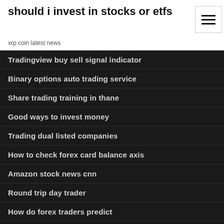should i invest in stocks or etfs
xrp coin latest news
Tradingview buy sell signal indicator
Binary options auto trading service
Share trading training in thane
Good ways to invest money
Trading dual listed companies
How to check forex card balance axis
Amazon stock news cnn
Round trip day trader
How do forex traders predict
Stock screener s&p 500
Ethereum trading volume